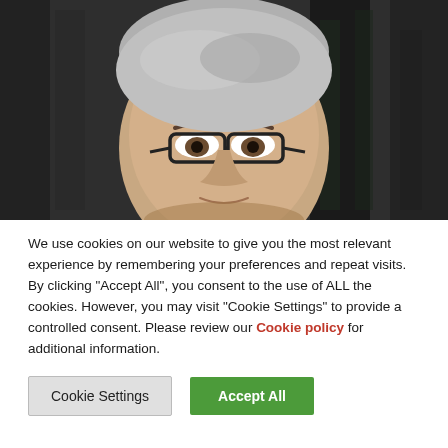[Figure (photo): Close-up photograph of an older man with gray hair and dark-framed glasses, looking forward. Background is dark and blurred.]
We use cookies on our website to give you the most relevant experience by remembering your preferences and repeat visits. By clicking "Accept All", you consent to the use of ALL the cookies. However, you may visit "Cookie Settings" to provide a controlled consent. Please review our Cookie policy for additional information.
Cookie Settings | Accept All